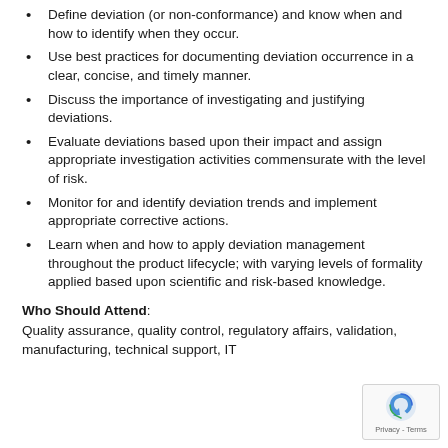Define deviation (or non-conformance) and know when and how to identify when they occur.
Use best practices for documenting deviation occurrence in a clear, concise, and timely manner.
Discuss the importance of investigating and justifying deviations.
Evaluate deviations based upon their impact and assign appropriate investigation activities commensurate with the level of risk.
Monitor for and identify deviation trends and implement appropriate corrective actions.
Learn when and how to apply deviation management throughout the product lifecycle; with varying levels of formality applied based upon scientific and risk-based knowledge.
Who Should Attend:
Quality assurance, quality control, regulatory affairs, validation, manufacturing, technical support, IT